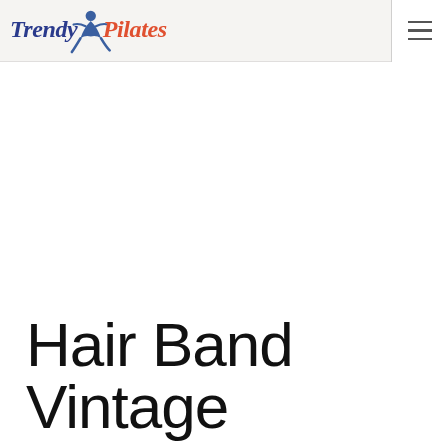Trendy Pilates
Hair Band Vintage